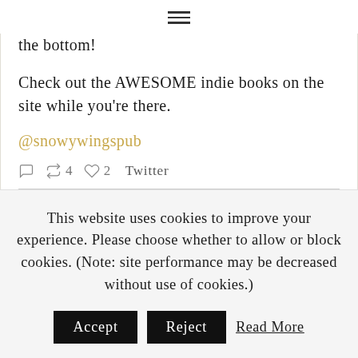[Figure (other): Hamburger menu icon (three horizontal lines)]
the bottom!
Check out the AWESOME indie books on the site while you're there.
@snowywingspub
4   2   Twitter
This website uses cookies to improve your experience. Please choose whether to allow or block cookies. (Note: site performance may be decreased without use of cookies.)
Accept   Reject   Read More